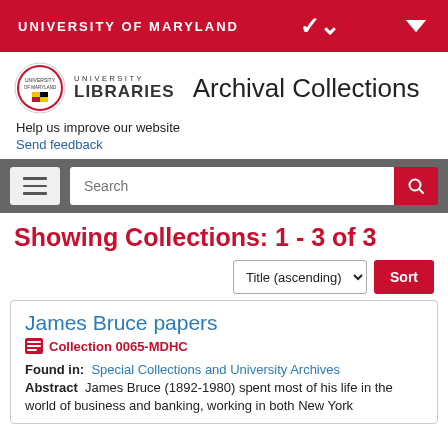UNIVERSITY OF MARYLAND
[Figure (logo): University of Maryland Libraries logo with seal and text UNIVERSITY LIBRARIES]
Archival Collections
Help us improve our website
Send feedback
Search
Showing Collections: 1 - 3 of 3
Title (ascending) Sort
James Bruce papers
Collection 0065-MDHC
Found in: Special Collections and University Archives
Abstract James Bruce (1892-1980) spent most of his life in the world of business and banking, working in both New York